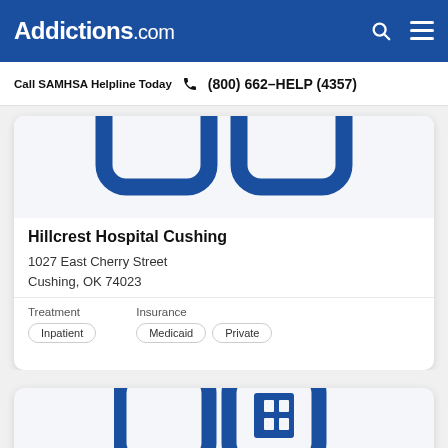Addictions.com
Call SAMHSA Helpline Today  (800) 662-HELP (4357)
[Figure (logo): Addictions.com hospital facility logo placeholder icon in blue, partially cropped at top]
Hillcrest Hospital Cushing
1027 East Cherry Street
Cushing, OK 74023
Treatment: Inpatient | Insurance: Medicaid, Private
[Figure (logo): Addictions.com hospital facility logo placeholder icon in blue, partially visible at bottom of page]